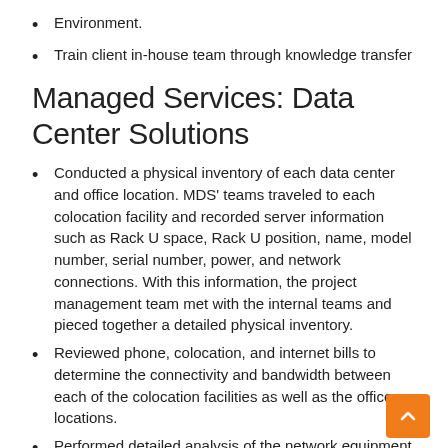Environment.
Train client in-house team through knowledge transfer
Managed Services: Data Center Solutions
Conducted a physical inventory of each data center and office location. MDS' teams traveled to each colocation facility and recorded server information such as Rack U space, Rack U position, name, model number, serial number, power, and network connections. With this information, the project management team met with the internal teams and pieced together a detailed physical inventory.
Reviewed phone, colocation, and internet bills to determine the connectivity and bandwidth between each of the colocation facilities as well as the office locations.
Performed detailed analysis of the network equipment to come up with an overview of routing and IP Address sp
Provided network engineer consultants to assist the network team.